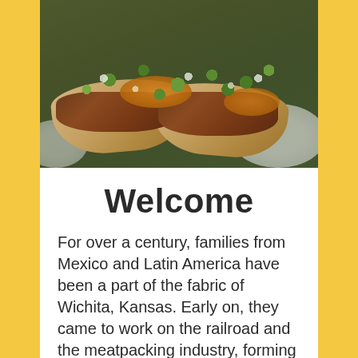[Figure (photo): Close-up photo of two street tacos on flour tortillas, topped with grilled meat, orange salsa/sauce, chopped cilantro and white onion, served on a white plate.]
Welcome
For over a century, families from Mexico and Latin America have been a part of the fabric of Wichita, Kansas. Early on, they came to work on the railroad and the meatpacking industry, forming barrios and